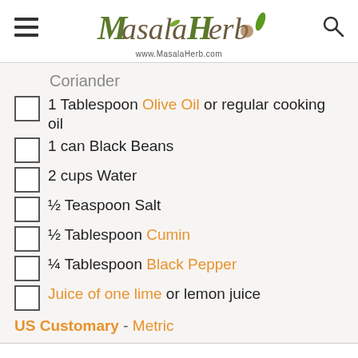Masala Herb — www.MasalaHerb.com
Coriander
1 Tablespoon Olive Oil or regular cooking oil
1 can Black Beans
2 cups Water
½ Teaspoon Salt
½ Tablespoon Cumin
¼ Tablespoon Black Pepper
Juice of one lime or lemon juice
US Customary - Metric